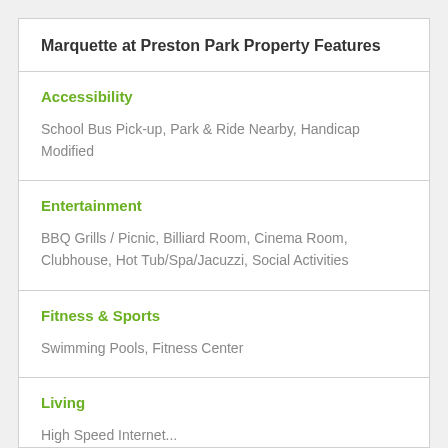Marquette at Preston Park Property Features
Accessibility
School Bus Pick-up, Park & Ride Nearby, Handicap Modified
Entertainment
BBQ Grills / Picnic, Billiard Room, Cinema Room, Clubhouse, Hot Tub/Spa/Jacuzzi, Social Activities
Fitness & Sports
Swimming Pools, Fitness Center
Living
High Speed Internet...